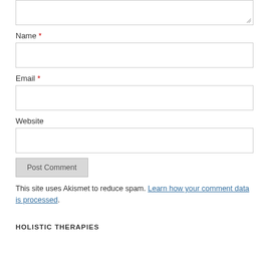Name *
Email *
Website
Post Comment
This site uses Akismet to reduce spam. Learn how your comment data is processed.
HOLISTIC THERAPIES